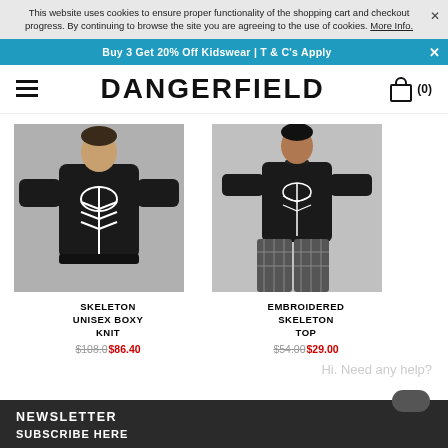This website uses cookies to ensure proper functionality of the shopping cart and checkout progress. By continuing to browse the site you are agreeing to the use of cookies. More Info.
Buy 3 Get 20% Off Kidswear | T & C's Apply
DANGERFIELD
[Figure (photo): Model wearing a black skeleton ribcage print knit sweater]
SKELETON UNISEX BOXY KNIT
$108.0 $86.40
[Figure (photo): Model wearing a black embroidered skeleton top with plaid pants]
EMBROIDERED SKELETON TOP
$54.00 $29.00
Hi. Need any help?
NEWSLETTER
SUBSCRIBE HERE